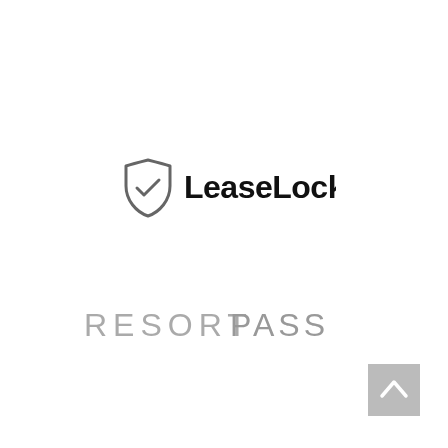[Figure (logo): LeaseLock logo: a shield outline with a checkmark inside, followed by the text 'LeaseLock' in bold black sans-serif font]
[Figure (logo): ResortPass logo: text 'RESORTPASS' in light gray uppercase tracked letters, with 'RESORT' in lighter weight and 'PASS' in slightly heavier weight]
[Figure (other): A small gray square button with an upward-pointing caret/chevron icon, positioned in the bottom-right corner]